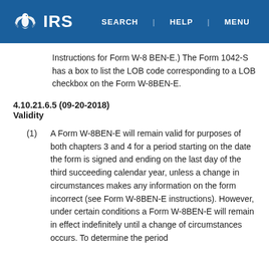IRS | SEARCH | HELP | MENU
Instructions for Form W-8 BEN-E.) The Form 1042-S has a box to list the LOB code corresponding to a LOB checkbox on the Form W-8BEN-E.
4.10.21.6.5 (09-20-2018)
Validity
(1) A Form W-8BEN-E will remain valid for purposes of both chapters 3 and 4 for a period starting on the date the form is signed and ending on the last day of the third succeeding calendar year, unless a change in circumstances makes any information on the form incorrect (see Form W-8BEN-E instructions). However, under certain conditions a Form W-8BEN-E will remain in effect indefinitely until a change of circumstances occurs. To determine the period